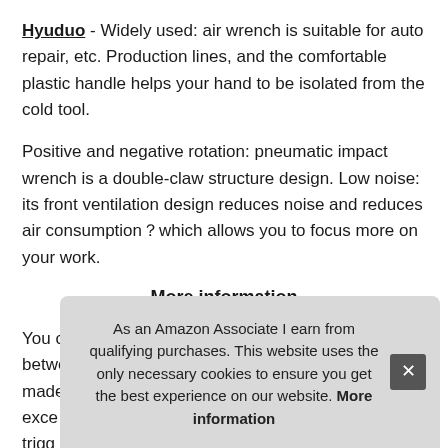Hyuduo - Widely used: air wrench is suitable for auto repair, etc. Production lines, and the comfortable plastic handle helps your hand to be isolated from the cold tool.
Positive and negative rotation: pneumatic impact wrench is a double-claw structure design. Low noise: its front ventilation design reduces noise and reduces air consumption which allows you to focus more on your work.
More information
You can rotate the head switch to make it switch between positive and negative. High quality: it is made of high-quality alum... exce... trigg... fatig...
As an Amazon Associate I earn from qualifying purchases. This website uses the only necessary cookies to ensure you get the best experience on our website. More information